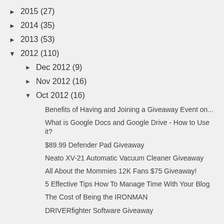► 2015 (27)
► 2014 (35)
► 2013 (53)
▼ 2012 (110)
► Dec 2012 (9)
► Nov 2012 (16)
▼ Oct 2012 (16)
Benefits of Having and Joining a Giveaway Event on...
What is Google Docs and Google Drive - How to Use it?
$89.99 Defender Pad Giveaway
Neato XV-21 Automatic Vacuum Cleaner Giveaway
All About the Mommies 12K Fans $75 Giveaway!
5 Effective Tips How To Manage Time With Your Blog
The Cost of Being the IRONMAN
DRIVERfighter Software Giveaway